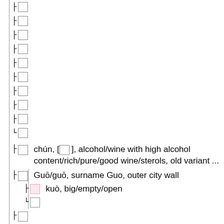├ □
├ □
├ □
├ □
├ □
├ □
├ □
├ □
├ □
└ □
├ □   chún, [□], alcohol/wine with high alcohol content/rich/pure/good wine/sterols, old variant ...
├ □   Guō/guō, surname Guo, outer city wall
├ □   kuò, big/empty/open
└ □
├ □   [□], ren/ren ...